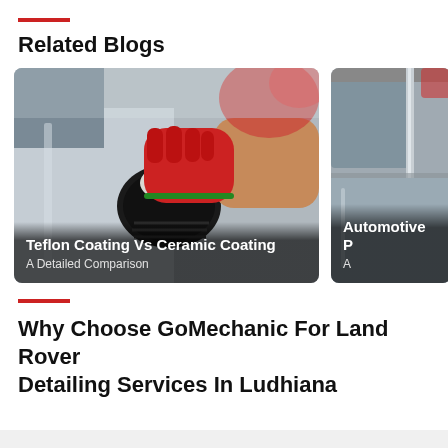Related Blogs
[Figure (photo): Person wearing red glove applying coating to a car side mirror using a cloth, with car body visible]
Teflon Coating Vs Ceramic Coating – A Detailed Comparison
[Figure (photo): Partial view of a car window and roof with automotive paint protection treatment, partially cropped]
Automotive P... A...
Why Choose GoMechanic For Land Rover Detailing Services In Ludhiana